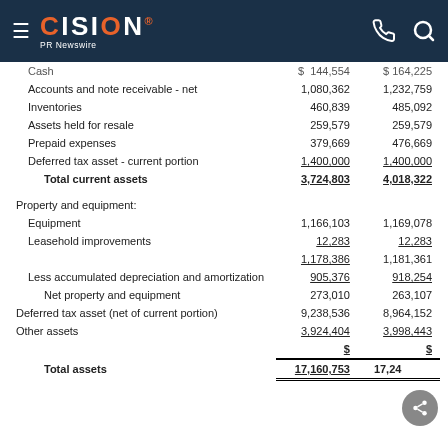CISION PR Newswire
|  | Col1 | Col2 |
| --- | --- | --- |
| Cash | $ 144,554 | $ 164,225 |
| Accounts and note receivable - net | 1,080,362 | 1,232,759 |
| Inventories | 460,839 | 485,092 |
| Assets held for resale | 259,579 | 259,579 |
| Prepaid expenses | 379,669 | 476,669 |
| Deferred tax asset - current portion | 1,400,000 | 1,400,000 |
| Total current assets | 3,724,803 | 4,018,322 |
| Property and equipment: |  |  |
| Equipment | 1,166,103 | 1,169,078 |
| Leasehold improvements | 12,283 | 12,283 |
|  | 1,178,386 | 1,181,361 |
| Less accumulated depreciation and amortization | 905,376 | 918,254 |
| Net property and equipment | 273,010 | 263,107 |
| Deferred tax asset (net of current portion) | 9,238,536 | 8,964,152 |
| Other assets | 3,924,404 | 3,998,443 |
|  | $ | $ |
| Total assets | 17,160,753 | 17,24... |